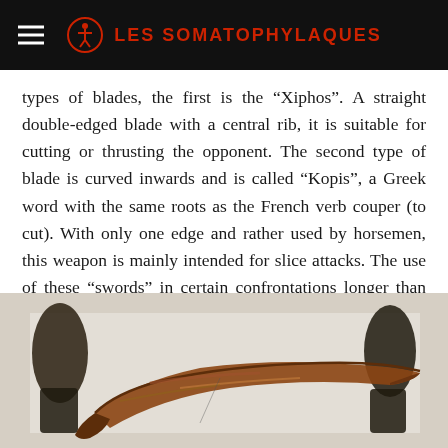LES SOMATOPHYLAQUES
types of blades, the first is the “Xiphos”. A straight double-edged blade with a central rib, it is suitable for cutting or thrusting the opponent. The second type of blade is curved inwards and is called “Kopis”, a Greek word with the same roots as the French verb couper (to cut). With only one edge and rather used by horsemen, this weapon is mainly intended for slice attacks. The use of these “swords” in certain confrontations longer than usual is attested by ancient sources and in particular by Herodotus when he wrote about the battle of Thermopylae [8] .
[Figure (photo): A rusted ancient curved iron blade (kopis) displayed on a white surface, with dark artifact handles visible on the left and right sides.]